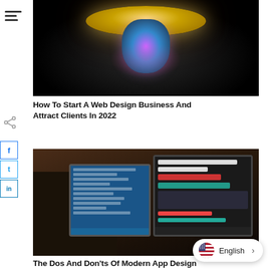[Figure (photo): 3D digital art of a glowing golden disk or hat with colorful metallic figure beneath it on black background]
How To Start A Web Design Business And Attract Clients In 2022
[Figure (photo): Man sitting at desk working on two computer monitors showing web design/UI interfaces, wooden background]
The Dos And Don'ts Of Modern App Design